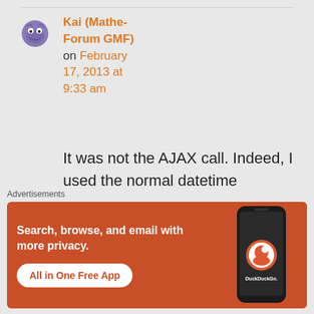[Figure (illustration): User avatar icon showing a cartoon monster/creature in purple/blue colors]
Kai (Mathe-Forum GMF) on February 17, 2013 at 9:33 am
It was not the AJAX call. Indeed, I used the normal datetime
Advertisements
[Figure (infographic): DuckDuckGo advertisement banner with orange background. Text: Search, browse, and email with more privacy. All in One Free App. Shows DuckDuckGo logo and phone mockup.]